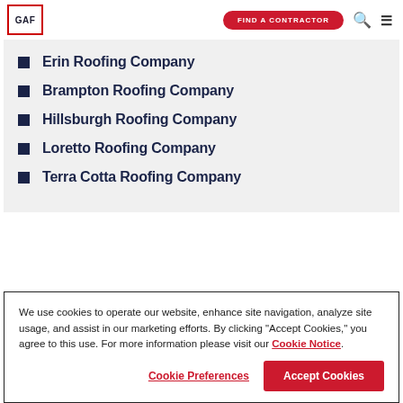GAF | FIND A CONTRACTOR
Erin Roofing Company
Brampton Roofing Company
Hillsburgh Roofing Company
Loretto Roofing Company
Terra Cotta Roofing Company
We use cookies to operate our website, enhance site navigation, analyze site usage, and assist in our marketing efforts. By clicking "Accept Cookies," you agree to this use. For more information please visit our Cookie Notice.
Cookie Preferences | Accept Cookies